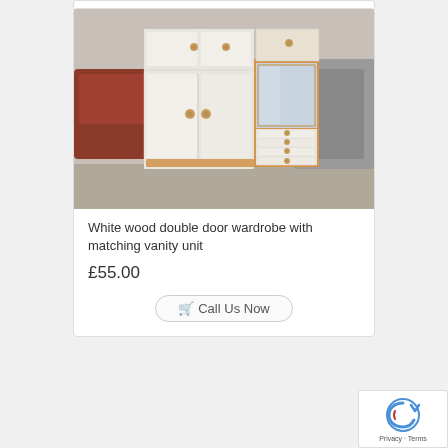[Figure (photo): White wood double door wardrobe with matching vanity unit featuring a mirror and four drawers, photographed in what appears to be a second-hand furniture store]
White wood double door wardrobe with matching vanity unit
£55.00
Call Us Now